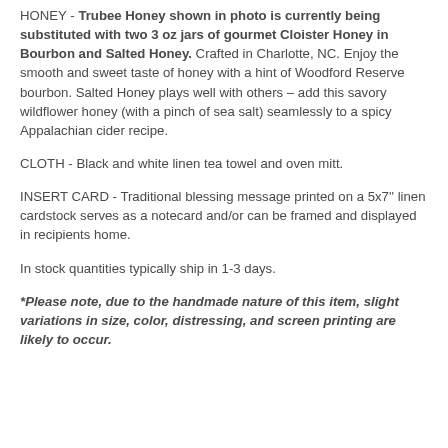HONEY - Trubee Honey shown in photo is currently being substituted with two 3 oz jars of gourmet Cloister Honey in Bourbon and Salted Honey. Crafted in Charlotte, NC. Enjoy the smooth and sweet taste of honey with a hint of Woodford Reserve bourbon. Salted Honey plays well with others – add this savory wildflower honey (with a pinch of sea salt) seamlessly to a spicy Appalachian cider recipe.
CLOTH - Black and white linen tea towel and oven mitt.
INSERT CARD - Traditional blessing message printed on a 5x7'' linen cardstock serves as a notecard and/or can be framed and displayed in recipients home.
In stock quantities typically ship in 1-3 days.
*Please note, due to the handmade nature of this item, slight variations in size, color, distressing, and screen printing are likely to occur.